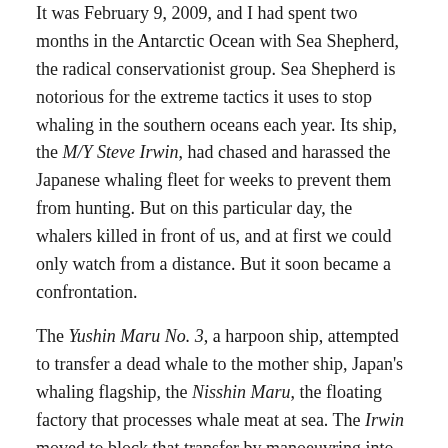It was February 9, 2009, and I had spent two months in the Antarctic Ocean with Sea Shepherd, the radical conservationist group. Sea Shepherd is notorious for the extreme tactics it uses to stop whaling in the southern oceans each year. Its ship, the M/Y Steve Irwin, had chased and harassed the Japanese whaling fleet for weeks to prevent them from hunting. But on this particular day, the whalers killed in front of us, and at first we could only watch from a distance. But it soon became a confrontation.
The Yushin Maru No. 3, a harpoon ship, attempted to transfer a dead whale to the mother ship, Japan's whaling flagship, the Nisshin Maru, the floating factory that processes whale meat at sea. The Irwin moved to block that transfer by manoeuvring into the Yushin Maru's path. Within seconds, the boats collided with a loud crash and screeching noise that rang through our ears. The Irwin tipped 30 degrees on its side—it felt as if the ship was going belly-up. I was on the outside deck of the Irwin, hanging on to a railing watching the water approach from below. The